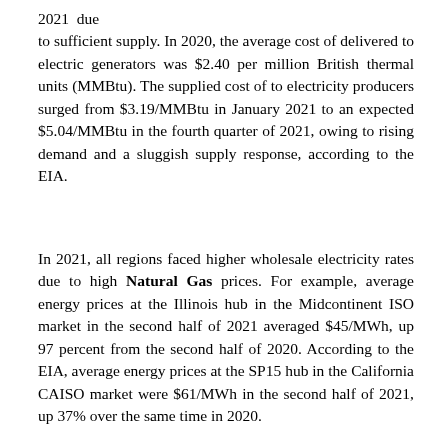2021 due to sufficient supply. In 2020, the average cost of delivered to electric generators was $2.40 per million British thermal units (MMBtu). The supplied cost of to electricity producers surged from $3.19/MMBtu in January 2021 to an expected $5.04/MMBtu in the fourth quarter of 2021, owing to rising demand and a sluggish supply response, according to the EIA.
In 2021, all regions faced higher wholesale electricity rates due to high Natural Gas prices. For example, average energy prices at the Illinois hub in the Midcontinent ISO market in the second half of 2021 averaged $45/MWh, up 97 percent from the second half of 2020. According to the EIA, average energy prices at the SP15 hub in the California CAISO market were $61/MWh in the second half of 2021, up 37% over the same time in 2020.